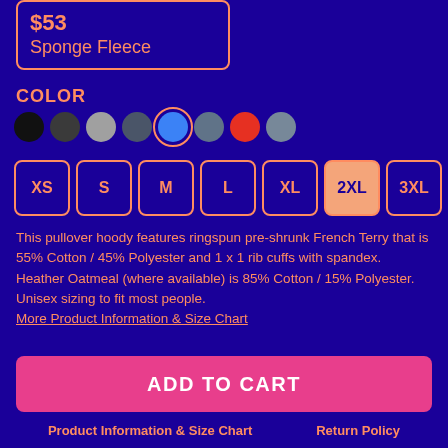$53
Sponge Fleece
COLOR
[Figure (other): Color swatches: black, dark gray, light gray, dark blue-gray, blue (selected), slate, red, medium gray]
[Figure (other): Size selector buttons: XS, S, M, L, XL, 2XL (selected/highlighted), 3XL]
This pullover hoody features ringspun pre-shrunk French Terry that is 55% Cotton / 45% Polyester and 1 x 1 rib cuffs with spandex. Heather Oatmeal (where available) is 85% Cotton / 15% Polyester. Unisex sizing to fit most people.
More Product Information & Size Chart
ADD TO CART
Product Information & Size Chart    Return Policy